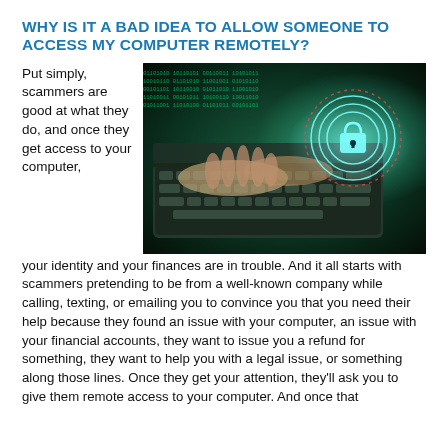WHY IS IT A BAD IDEA TO ALLOW SOMEONE TO ACCESS MY COMPUTER REMOTELY?
[Figure (photo): Hands typing on a laptop keyboard with a glowing green digital overlay and a padlock security icon with circular rings, representing cybersecurity and remote access threats.]
Put simply, scammers are good at what they do, and once they get access to your computer, your identity and your finances are in trouble. And it all starts with scammers pretending to be from a well-known company while calling, texting, or emailing you to convince you that you need their help because they found an issue with your computer, an issue with your financial accounts, they want to issue you a refund for something, they want to help you with a legal issue, or something along those lines. Once they get your attention, they'll ask you to give them remote access to your computer. And once that